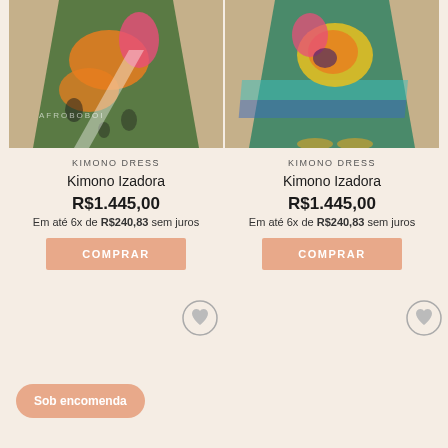[Figure (photo): Product photo of colorful kimono dress with green, orange, pink floral print]
KIMONO DRESS
Kimono Izadora
R$1.445,00
Em até 6x de R$240,83 sem juros
COMPRAR
[Figure (photo): Product photo of colorful kimono dress with green, yellow, teal floral print]
KIMONO DRESS
Kimono Izadora
R$1.445,00
Em até 6x de R$240,83 sem juros
COMPRAR
Sob encomenda